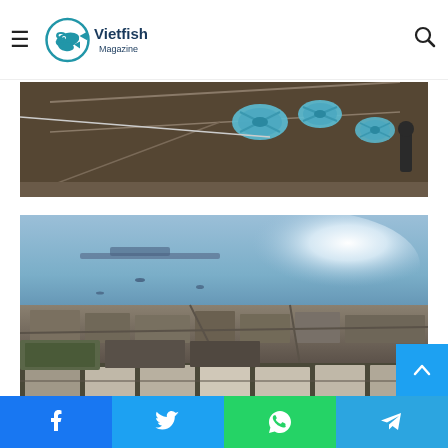Vietfish Magazine
[Figure (photo): Aerial/close-up view of shrimp or fish aquaculture ponds with blue paddle-wheel aerators visible, dense packed pond surface]
[Figure (photo): Aerial view of a coastal city/industrial area with aquaculture ponds in the foreground and a harbor/sea in the background, bright sunlight glinting off the water]
Facebook  Twitter  WhatsApp  Telegram